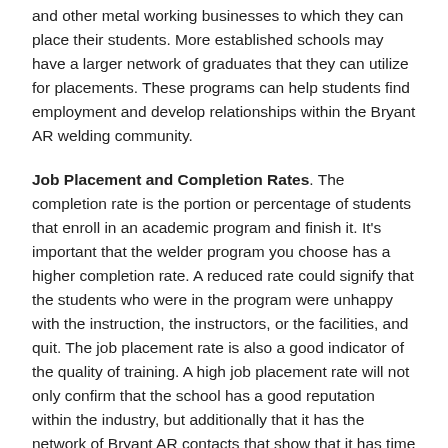and other metal working businesses to which they can place their students. More established schools may have a larger network of graduates that they can utilize for placements. These programs can help students find employment and develop relationships within the Bryant AR welding community.
Job Placement and Completion Rates. The completion rate is the portion or percentage of students that enroll in an academic program and finish it. It's important that the welder program you choose has a higher completion rate. A reduced rate could signify that the students who were in the program were unhappy with the instruction, the instructors, or the facilities, and quit. The job placement rate is also a good indicator of the quality of training. A high job placement rate will not only confirm that the school has a good reputation within the industry, but additionally that it has the network of Bryant AR contacts that show that it has time